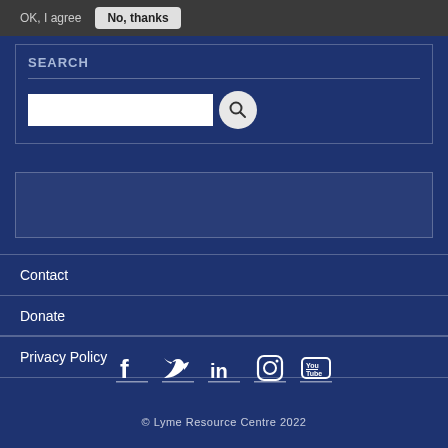OK, I agree
No, thanks
SEARCH
[Figure (screenshot): Search input box with magnifying glass search button]
[Figure (screenshot): Empty content box]
Contact
Donate
Privacy Policy
[Figure (infographic): Social media icons: Facebook, Twitter, LinkedIn, Instagram, YouTube]
© Lyme Resource Centre 2022